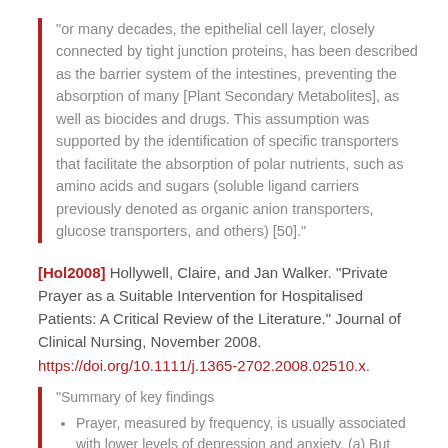“or many decades, the epithelial cell layer, closely connected by tight junction proteins, has been described as the barrier system of the intestines, preventing the absorption of many [Plant Secondary Metabolites], as well as biocides and drugs. This assumption was supported by the identification of specific transporters that facilitate the absorption of polar nutrients, such as amino acids and sugars (soluble ligand carriers previously denoted as organic anion transporters, glucose transporters, and others) [50].”
[Hol2008] Hollywell, Claire, and Jan Walker. “Private Prayer as a Suitable Intervention for Hospitalised Patients: A Critical Review of the Literature.” Journal of Clinical Nursing, November 2008. https://doi.org/10.1111/j.1365-2702.2008.02510.x.
“Summary of key findings
Prayer, measured by frequency, is usually associated with lower levels of depression and anxiety. (a) But most of the studies that show positive associations between prayer and wellbeing were located in areas that have strong Christian traditions and have been conducted by those